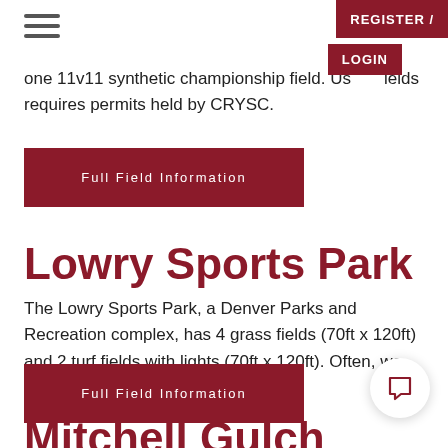REGISTER / LOGIN
one 11v11 synthetic championship field. Us fields requires permits held by CRYSC.
Full Field Information
Lowry Sports Park
The Lowry Sports Park, a Denver Parks and Recreation complex, has 4 grass fields (70ft x 120ft) and 2 turf fields with lights (70ft x 120ft). Often, we segment the...
Full Field Information
Mitchell Gulch Park